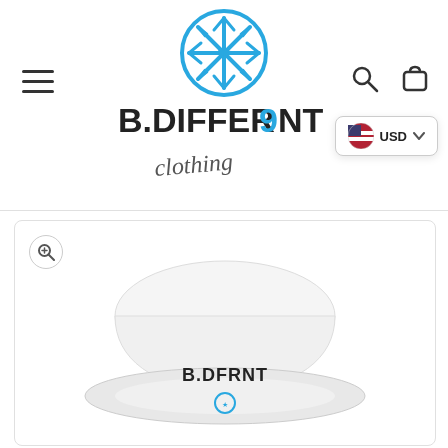[Figure (logo): B.DIFFERENT clothing logo with snowflake icon above stylized text]
[Figure (photo): White bucket hat with B.DFRNT logo printed on it, product photo]